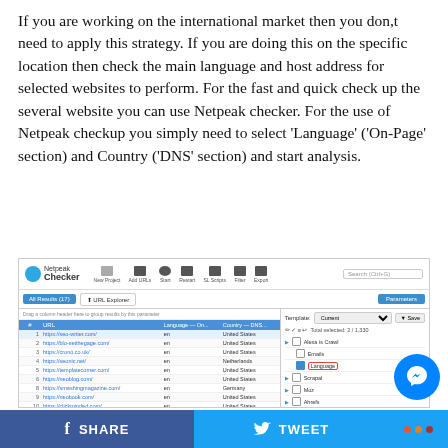If you are working on the international market then you don,t need to apply this strategy. If you are doing this on the specific location then check the main language and host address for selected websites to perform. For the fast and quick check up the several website you can use Netpeak checker. For the use of Netpeak checkup you simply need to select 'Language' ('On-Page' section) and Country ('DNS' section) and start analysis.
[Figure (screenshot): Screenshot of Netpeak Checker software showing a list of URLs with Language and Country columns, and a Parameters panel on the right with Language checked.]